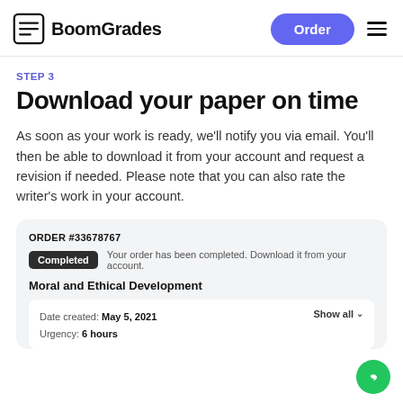BoomGrades
STEP 3
Download your paper on time
As soon as your work is ready, we'll notify you via email. You'll then be able to download it from your account and request a revision if needed. Please note that you can also rate the writer's work in your account.
| ORDER #33678767 |  |
| --- | --- |
| Completed | Your order has been completed. Download it from your account. |
| Moral and Ethical Development |  |
| Date created: May 5, 2021 | Show all |
| Urgency: 6 hours |  |